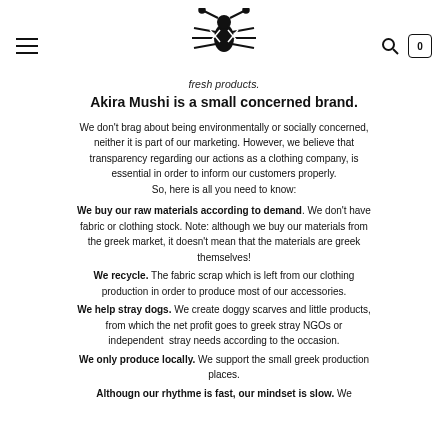Akira Mushi logo, navigation menu, search and cart icons
fresh products.
Akira Mushi is a small concerned brand.
We don't brag about being environmentally or socially concerned, neither it is part of our marketing. However, we believe that transparency regarding our actions as a clothing company, is essential in order to inform our customers properly. So, here is all you need to know:
We buy our raw materials according to demand. We don't have fabric or clothing stock. Note: although we buy our materials from the greek market, it doesn't mean that the materials are greek themselves!
We recycle. The fabric scrap which is left from our clothing production in order to produce most of our accessories.
We help stray dogs. We create doggy scarves and little products, from which the net profit goes to greek stray NGOs or independent  stray needs according to the occasion.
We only produce locally. We support the small greek production places.
Althougn our rhythme is fast, our mindset is slow. We